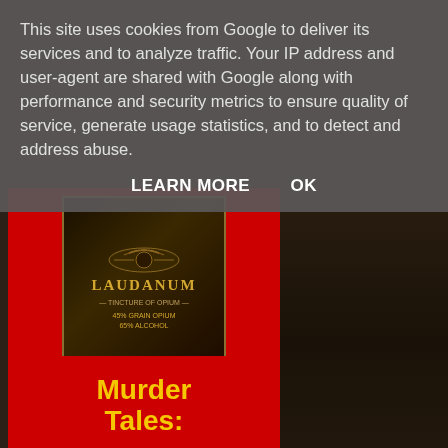This site uses cookies from Google to deliver its services and to analyze traffic. Your IP address and user-agent are shared with Google along with performance and security metrics to ensure quality of service, generate usage statistics, and to detect and address abuse.
LEARN MORE    OK
[Figure (photo): Book cover for a Laudanum-themed book on a red background, showing a dark vintage label with the word LAUDANUM and text reading 45% GRAIN OPIUM, 65% ALCOHOL]
Murder Tales The Granny Killers (true crime)
[Figure (photo): Book cover for Murder Tales: The Granny Killers (true crime) showing bold yellow text on a red background]